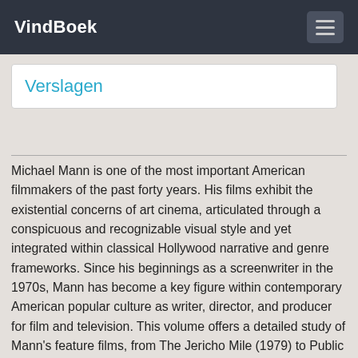VindBoek
Verslagen
Michael Mann is one of the most important American filmmakers of the past forty years. His films exhibit the existential concerns of art cinema, articulated through a conspicuous and recognizable visual style and yet integrated within classical Hollywood narrative and genre frameworks. Since his beginnings as a screenwriter in the 1970s, Mann has become a key figure within contemporary American popular culture as writer, director, and producer for film and television. This volume offers a detailed study of Mann's feature films, from The Jericho Mile (1979) to Public Enemies (2009), with consideration also being given to parallels in the production, style, and characterization in his television work. It explores Mann's